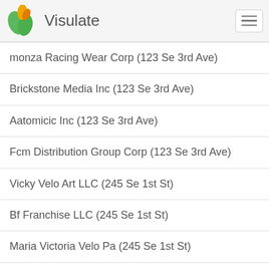Visulate
monza Racing Wear Corp (123 Se 3rd Ave)
Brickstone Media Inc (123 Se 3rd Ave)
Aatomicic Inc (123 Se 3rd Ave)
Fcm Distribution Group Corp (123 Se 3rd Ave)
Vicky Velo Art LLC (245 Se 1st St)
Bf Franchise LLC (245 Se 1st St)
Maria Victoria Velo Pa (245 Se 1st St)
Maraina LLC (245 Se 1st St)
Call Bound LLC (245 Se 1st St)
Gm Telecom Corp. (245 Se 1st St)